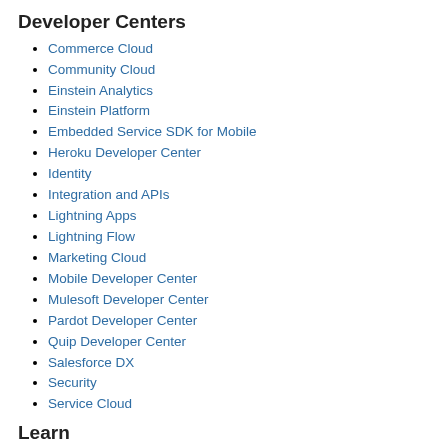Developer Centers
Commerce Cloud
Community Cloud
Einstein Analytics
Einstein Platform
Embedded Service SDK for Mobile
Heroku Developer Center
Identity
Integration and APIs
Lightning Apps
Lightning Flow
Marketing Cloud
Mobile Developer Center
Mulesoft Developer Center
Pardot Developer Center
Quip Developer Center
Salesforce DX
Security
Service Cloud
Learn
Blog
Certification
Events and Webinars
Podcast
Sample Gallery
Tools
Trailhead
Video Gallery